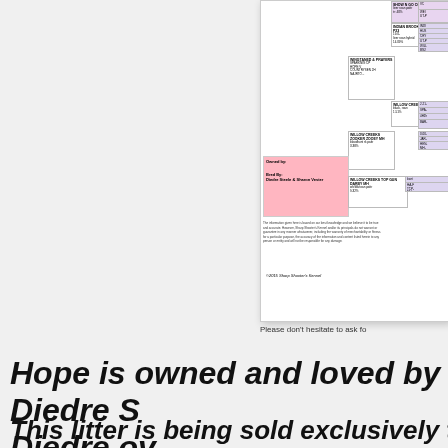[Figure (other): Partial pedigree document from Sharp Shooter's Kennel showing dog lineage including Willow Creek's entries, with pink 'Owned By / Bred By: Diedre Steele & Sharon Vester' box, disclaimer text, and copyright 2015 Sharp Shooter's Kennel]
Please don't hesitate to ask fo
Hope is owned and loved by Diedre S Diedre ov
This litter is being sold exclusively to hunt